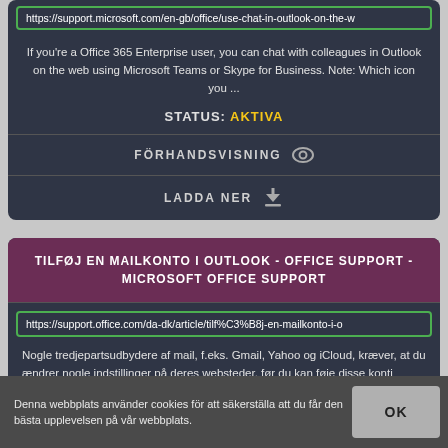https://support.microsoft.com/en-gb/office/use-chat-in-outlook-on-the-w
If you're a Office 365 Enterprise user, you can chat with colleagues in Outlook on the web using Microsoft Teams or Skype for Business. Note: Which icon you ...
STATUS: AKTIVA
FÖRHANDSVISNING
LADDA NER
TILFØJ EN MAILKONTO I OUTLOOK - OFFICE SUPPORT - MICROSOFT OFFICE SUPPORT
https://support.office.com/da-dk/article/tilf%C3%B8j-en-mailkonto-i-o
Nogle tredjepartsudbydere af mail, f.eks. Gmail, Yahoo og iCloud, kræver, at du ændrer nogle indstillinger på deres websteder, før du kan føje disse konti
Denna webbplats använder cookies för att säkerställa att du får den bästa upplevelsen på vår webbplats.
OK